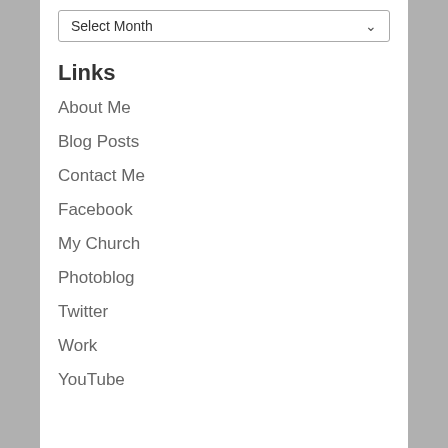[Figure (screenshot): A dropdown select element showing 'Select Month' with a chevron arrow on the right]
Links
About Me
Blog Posts
Contact Me
Facebook
My Church
Photoblog
Twitter
Work
YouTube